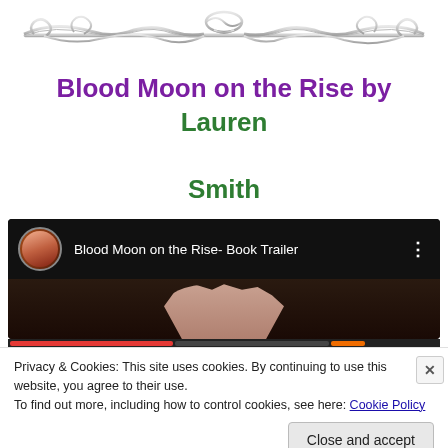[Figure (illustration): Decorative silver ornamental divider with scroll and filigree design]
Blood Moon on the Rise by Lauren Smith
[Figure (screenshot): YouTube video embed showing 'Blood Moon on the Rise- Book Trailer' with channel avatar of a woman in a purple dress and a dark thumbnail showing a hand silhouette]
Privacy & Cookies: This site uses cookies. By continuing to use this website, you agree to their use.
To find out more, including how to control cookies, see here: Cookie Policy
Close and accept